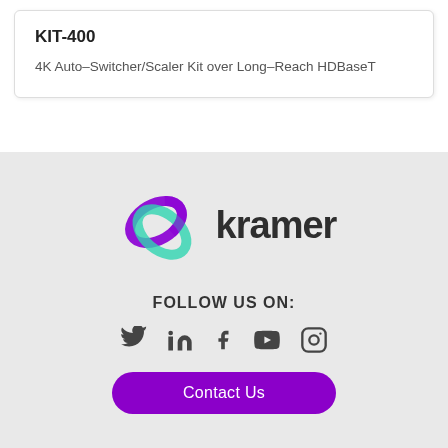KIT-400
4K Auto–Switcher/Scaler Kit over Long–Reach HDBaseT
[Figure (logo): Kramer logo with interlinked purple and teal rings beside the word 'kramer' in bold dark text]
FOLLOW US ON:
[Figure (other): Social media icons: Twitter, LinkedIn, Facebook, YouTube, Instagram]
Contact Us